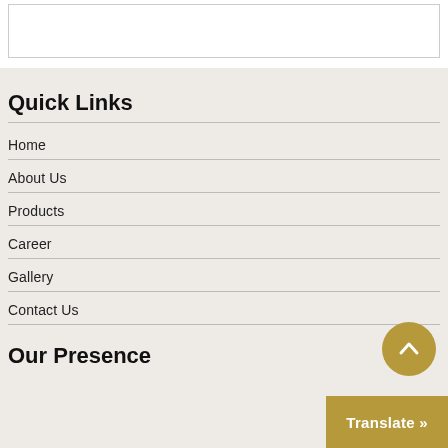Quick Links
Home
About Us
Products
Career
Gallery
Contact Us
Our Presence
Translate »